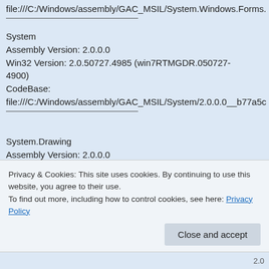file:///C:/Windows/assembly/GAC_MSIL/System.Windows.Forms.
System
Assembly Version: 2.0.0.0
Win32 Version: 2.0.50727.4985 (win7RTMGDR.050727-4900)
CodeBase: file:///C:/Windows/assembly/GAC_MSIL/System/2.0.0.0__b77a5c
System.Drawing
Assembly Version: 2.0.0.0
Win32 Version: 2.0.50727.4985 (win7RTMGDR.050727-4900)
CodeBase: file:///C:/Windows/assembly/GAC_MSIL/System.Drawing/2.0.0.0_
Privacy & Cookies: This site uses cookies. By continuing to use this website, you agree to their use.
To find out more, including how to control cookies, see here: Privacy Policy